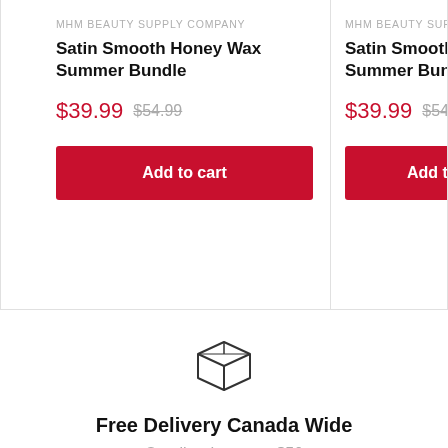MHM BEAUTY SUPPLY COMPANY
Satin Smooth Honey Wax Summer Bundle
$39.99  $54.99
Add to cart
MHM BEAUTY SUPPLY C...
Satin Smooth Deluxe Summer Bundle
$39.99  $54.99
Add to...
[Figure (illustration): Box/package delivery icon outline]
Free Delivery Canada Wide
On all orders over $50
[Figure (illustration): Second delivery/shipping icon outline (partial, bottom of page)]